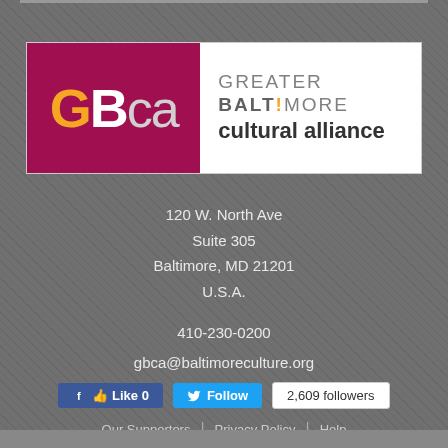[Figure (logo): GBCA Greater Baltimore Cultural Alliance logo with magenta left panel showing GBca letters and white right panel showing organization name]
120 W. North Ave
Suite 305
Baltimore, MD 21201
U.S.A.
410-230-0200
gbca@baltimoreculture.org
[Figure (screenshot): Facebook Like button (0 likes), Twitter Follow button, and 2,609 followers count badge]
Our Supporters | Privacy Policy | Help